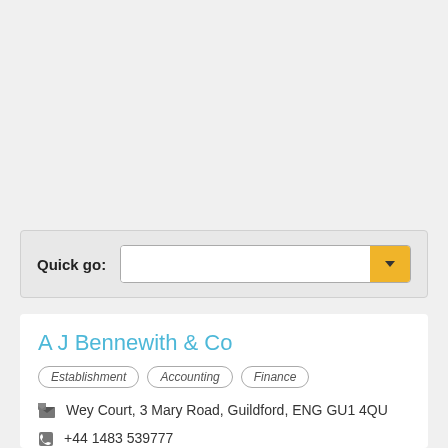Quick go:
A J Bennewith & Co
Establishment
Accounting
Finance
Wey Court, 3 Mary Road, Guildford, ENG GU1 4QU
+44 1483 539777
bennewith.co.uk